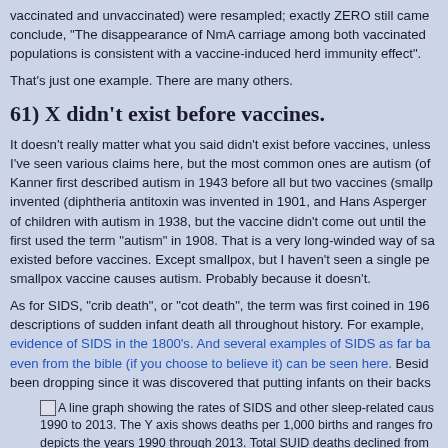vaccinated and unvaccinated) were resampled; exactly ZERO still came conclude, "The disappearance of NmA carriage among both vaccinated populations is consistent with a vaccine-induced herd immunity effect".
That's just one example. There are many others.
61) X didn't exist before vaccines.
It doesn't really matter what you said didn't exist before vaccines, unless I've seen various claims here, but the most common ones are autism (of Kanner first described autism in 1943 before all but two vaccines (smallp invented (diphtheria antitoxin was invented in 1901, and Hans Asperger of children with autism in 1938, but the vaccine didn't come out until the first used the term "autism" in 1908. That is a very long-winded way of sa existed before vaccines. Except smallpox, but I haven't seen a single pe smallpox vaccine causes autism. Probably because it doesn't.
As for SIDS, "crib death", or "cot death", the term was first coined in 196 descriptions of sudden infant death all throughout history. For example, evidence of SIDS in the 1800's. And several examples of SIDS as far ba even from the bible (if you choose to believe it) can be seen here. Besid been dropping since it was discovered that putting infants on their backs
A line graph showing the rates of SIDS and other sleep-related caus 1990 to 2013. The Y axis shows deaths per 1,000 births and ranges fro depicts the years 1990 through 2013. Total SUID deaths declined from